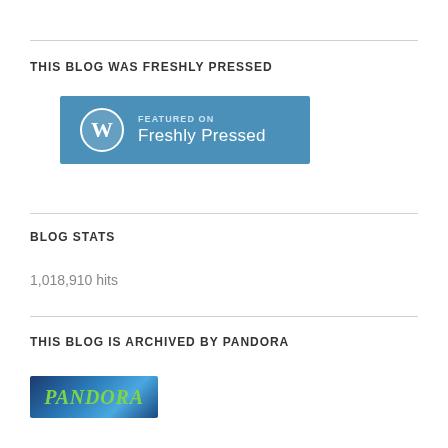THIS BLOG WAS FRESHLY PRESSED
[Figure (logo): WordPress Featured on Freshly Pressed badge — blue rectangle with WordPress logo and text]
BLOG STATS
1,018,910 hits
THIS BLOG IS ARCHIVED BY PANDORA
[Figure (logo): Pandora archive logo — blue background with PANDORA text in green]